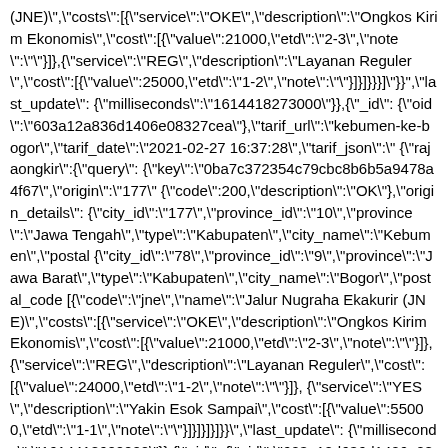(JNE)","costs":[{"service":"OKE","description":"Ongkos Kirim Ekonomis","cost":[{"value":21000,"etd":"2-3","note":""}]},{"service":"REG","description":"Layanan Reguler","cost":[{"value":25000,"etd":"1-2","note":""}]}]}}]"}},"last_update": {"milliseconds":"1614418273000"}},{"_id": {"oid":"603a12a836d1406e08327cea"},"tarif_url":"kebumen-ke-bogor","tarif_date":"2021-02-27 16:37:28","tarif_json":"{\"rajaongkir\":{\"query\": {\"key\":\"0ba7c372354c79cbc8b6b5a9478a4f67\",\"origin\":\"177\" {\"code\":200,\"description\":\"OK\"},\"origin_details\": {\"city_id\":\"177\",\"province_id\":\"10\",\"province\":\"Jawa Tengah\",\"type\":\"Kabupaten\",\"city_name\":\"Kebumen\",\"postal {\"city_id\":\"78\",\"province_id\":\"9\",\"province\":\"Jawa Barat\",\"type\":\"Kabupaten\",\"city_name\":\"Bogor\",\"postal_code [{\"code\":\"jne\",\"name\":\"Jalur Nugraha Ekakurir (JNE)\",\"costs\":[{\"service\":\"OKE\",\"description\":\"Ongkos Kirim Ekonomis\",\"cost\":[{\"value\":21000,\"etd\":\"2-3\",\"note\":\"\"}]},{\"service\":\"REG\",\"description\":\"Layanan Reguler\",\"cost\":[{\"value\":24000,\"etd\":\"1-2\",\"note\":\"\"}]}, {\"service\":\"YES\",\"description\":\"Yakin Esok Sampai\",\"cost\":[{\"value\":55000,\"etd\":\"1-1\",\"note\":\"\"}]}]}]}]}"},"last_update": {"milliseconds":"1614418600000"},{"_id": {"oid":"603a12d636d1406e08327ceb"},"tarif_url":"jembrana-ke-